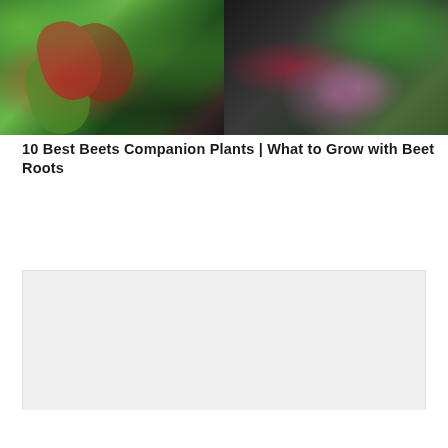[Figure (photo): Two side-by-side photos of beet plants. Left photo shows beet plants with red stems growing in dark soil with green leafy plants. Right photo shows harvested beets with roots and green tops on a dark background with dill-like herbs visible.]
10 Best Beets Companion Plants | What to Grow with Beet Roots
[Figure (other): Navigation previous and next arrow buttons (< and >) in square bordered boxes.]
[Figure (other): Advertisement placeholder box with light gray background.]